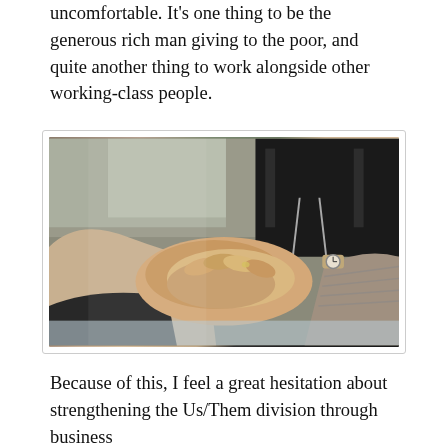uncomfortable. It's one thing to be the generous rich man giving to the poor, and quite another thing to work alongside other working-class people.
[Figure (photo): Several people placing their hands together in a group gesture of unity or teamwork, with blurred background.]
Because of this, I feel a great hesitation about strengthening the Us/Them division through business